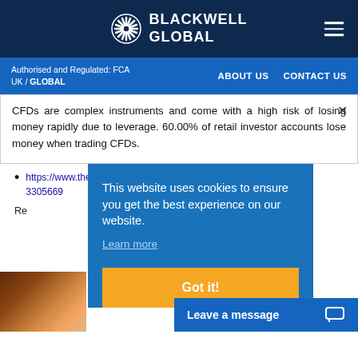BLACKWELL GLOBAL
Authorised and Regulated: FCA UK / GLOBAL
ABOUT US   CONTACT US
CFDs are complex instruments and come with a high risk of losing money rapidly due to leverage. 60.00% of retail investor accounts lose money when trading CFDs.
https://www.thebalance.com/us-economic-outlook-3305669
Re
This website uses cookies to ensure you get the best experience on our website.
Learn more
Got it!
Leave a message